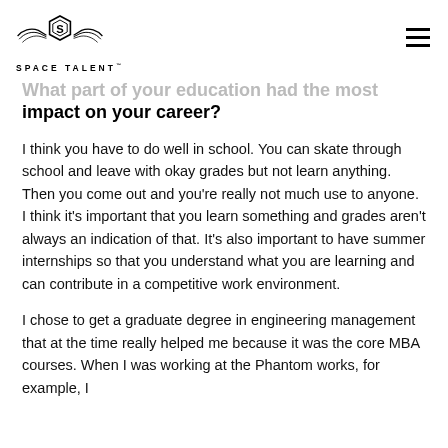SPACE TALENT
What part of your education had the most impact on your career?
I think you have to do well in school. You can skate through school and leave with okay grades but not learn anything. Then you come out and you're really not much use to anyone. I think it's important that you learn something and grades aren't always an indication of that. It's also important to have summer internships so that you understand what you are learning and can contribute in a competitive work environment.
I chose to get a graduate degree in engineering management that at the time really helped me because it was the core MBA courses. When I was working at the Phantom works, for example, I